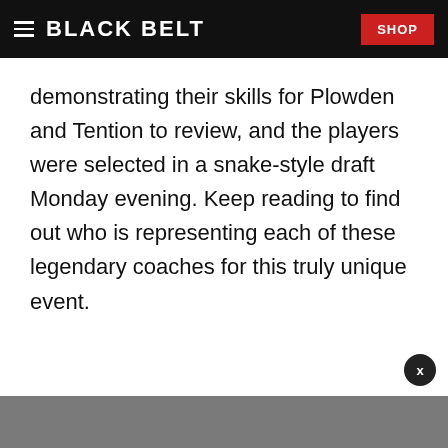BLACK BELT  SHOP
demonstrating their skills for Plowden and Tention to review, and the players were selected in a snake-style draft Monday evening. Keep reading to find out who is representing each of these legendary coaches for this truly unique event.